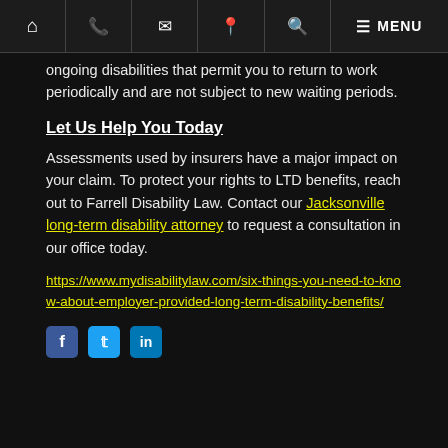Navigation bar with home, phone, email, location, search, menu icons and MENU text
ongoing disabilities that permit you to return to work periodically and are not subject to new waiting periods.
Let Us Help You Today
Assessments used by insurers have a major impact on your claim. To protect your rights to LTD benefits, reach out to Farrell Disability Law. Contact our Jacksonville long-term disability attorney to request a consultation in our office today.
https://www.mydisabilitylaw.com/six-things-you-need-to-know-about-employer-provided-long-term-disability-benefits/
[Figure (other): Social media icons for Facebook, Twitter, and LinkedIn]